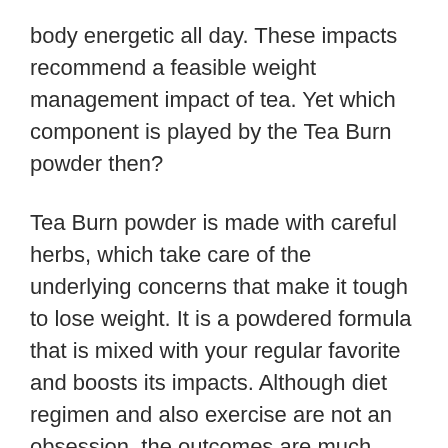body energetic all day. These impacts recommend a feasible weight management impact of tea. Yet which component is played by the Tea Burn powder then?
Tea Burn powder is made with careful herbs, which take care of the underlying concerns that make it tough to lose weight. It is a powdered formula that is mixed with your regular favorite and boosts its impacts. Although diet regimen and also exercise are not an obsession, the outcomes are much better when all 3 are combined. It is currently in stock and available for a discounted price.
(ACT NOW & SAVE) Obtain Tea Burn From The Official Web site With Approximately 50% OFF